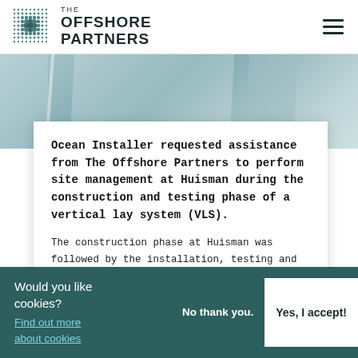[Figure (logo): The Offshore Partners logo with dot-grid icon and company name]
[Figure (photo): Hero background image showing light blue/teal architectural interior with white structural elements]
Ocean Installer requested assistance from The Offshore Partners to perform site management at Huisman during the construction and testing phase of a vertical lay system (VLS).
The construction phase at Huisman was followed by the installation, testing and
Would you like cookies?
Find out more about cookies
No thank you.
Yes, I accept!